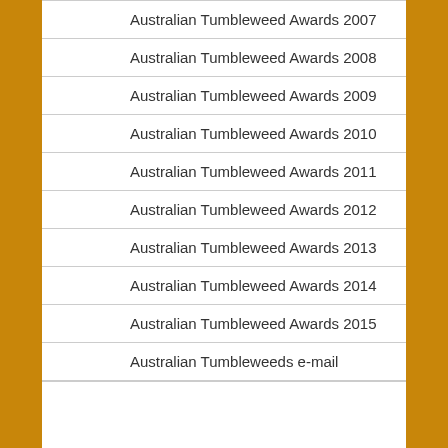Australian Tumbleweed Awards 2007
Australian Tumbleweed Awards 2008
Australian Tumbleweed Awards 2009
Australian Tumbleweed Awards 2010
Australian Tumbleweed Awards 2011
Australian Tumbleweed Awards 2012
Australian Tumbleweed Awards 2013
Australian Tumbleweed Awards 2014
Australian Tumbleweed Awards 2015
Australian Tumbleweeds e-mail